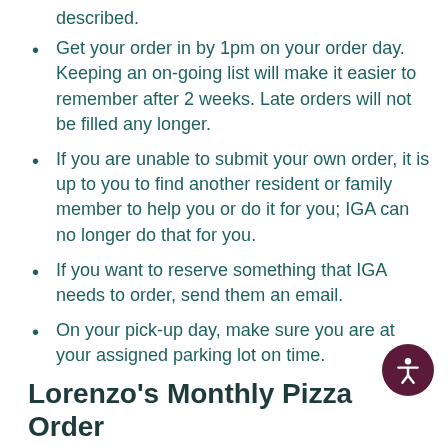described.
Get your order in by 1pm on your order day. Keeping an on-going list will make it easier to remember after 2 weeks. Late orders will not be filled any longer.
If you are unable to submit your own order, it is up to you to find another resident or family member to help you or do it for you; IGA can no longer do that for you.
If you want to reserve something that IGA needs to order, send them an email.
On your pick-up day, make sure you are at your assigned parking lot on time.
Lorenzo's Monthly Pizza Order